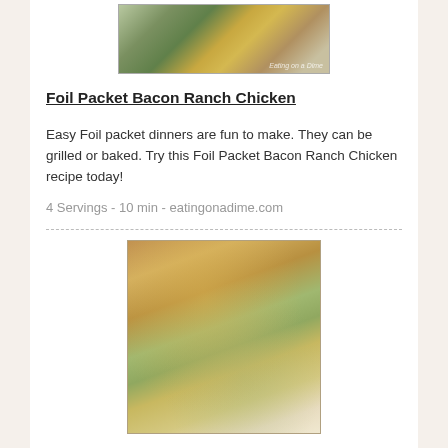[Figure (photo): Food photo of foil packet with green beans, bacon and chicken on aluminum foil with watermark]
Foil Packet Bacon Ranch Chicken
Easy Foil packet dinners are fun to make. They can be grilled or baked. Try this Foil Packet Bacon Ranch Chicken recipe today!
4 Servings - 10 min - eatingonadime.com
[Figure (photo): Food photo of One-Skillet Asparagus Stuffed Parmesan chicken roll showing melted cheese and asparagus filling]
One-Skillet Asparagus Stuffed Parmesan